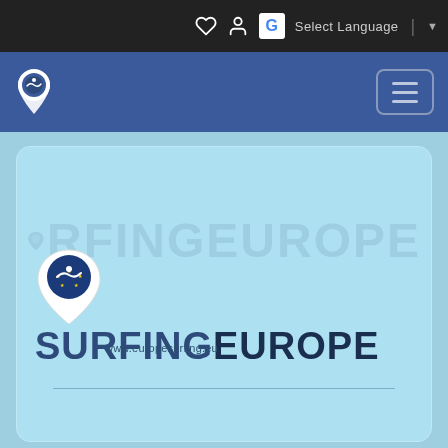Select Language
[Figure (logo): SurfingEurope logo with map pin containing EU stars and brand name SURFINGEUROPE with url www.europesurfing.eu]
www.europesurfing.eu